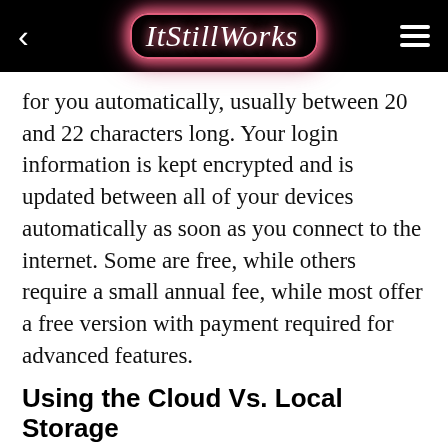ItStillWorks
for you automatically, usually between 20 and 22 characters long. Your login information is kept encrypted and is updated between all of your devices automatically as soon as you connect to the internet. Some are free, while others require a small annual fee, while most offer a free version with payment required for advanced features.
Using the Cloud Vs. Local Storage
Before choosing a password manager, you should first decide whether or not you are comfortable with your passwords being stored in